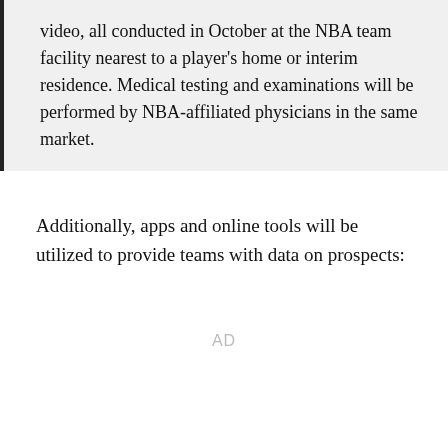video, all conducted in October at the NBA team facility nearest to a player's home or interim residence. Medical testing and examinations will be performed by NBA-affiliated physicians in the same market.
Additionally, apps and online tools will be utilized to provide teams with data on prospects: